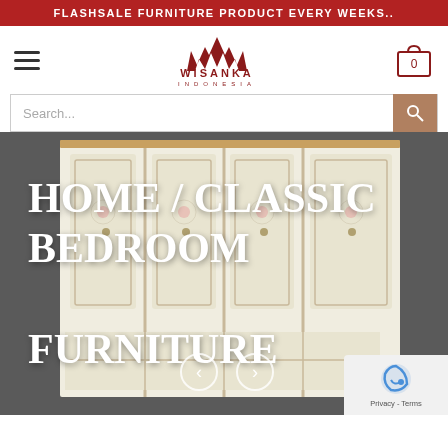FLASHSALE FURNITURE PRODUCT EVERY WEEKS..
[Figure (logo): Wisanka Indonesia furniture brand logo with stylized W icon in dark red and brand name]
[Figure (screenshot): Search bar with placeholder text 'Search...' and brown search button icon]
[Figure (photo): Classic white wardrobe with gold trim and floral painted panels as hero background image]
HOME / CLASSIC BEDROOM FURNITURE